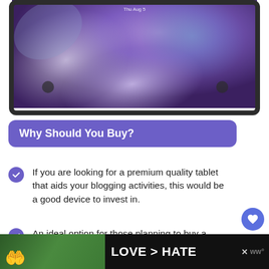[Figure (photo): Samsung tablet showing a purple/violet wallpaper with abstract design, displayed in a dark frame]
Why Should You Buy?
If you are looking for a premium quality tablet that aids your blogging activities, this would be a good device to invest in.
An ideal option for those planning to buy a well-rounded Samsung tablet.
[Figure (photo): Advertisement banner showing hands forming a heart shape with text LOVE > HATE on dark background]